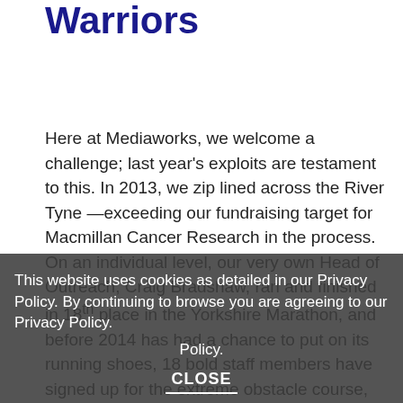Warriors
Here at Mediaworks, we welcome a challenge; last year's exploits are testament to this. In 2013, we zip lined across the River Tyne —exceeding our fundraising target for Macmillan Cancer Research in the process. On an individual level, our very own Head of Outreach, Craig Bradshaw, ran and finished in 18th place in the Yorkshire Marathon, and before 2014 has had a chance to put on its running shoes, 18 bold staff members have signed up for the extreme obstacle course, Total Warrior.
Upping the ante is a group of online marketing pros who fully understand the course is not for the faint-hearted. It is an adrenaline-fuelled 10K gauntlet of mud, walls, ropes, water, electric shocks to make your hair stand on end. However, when we think
This website uses cookies as detailed in our Privacy Policy. By continuing to browse you are agreeing to our Privacy Policy.
CLOSE